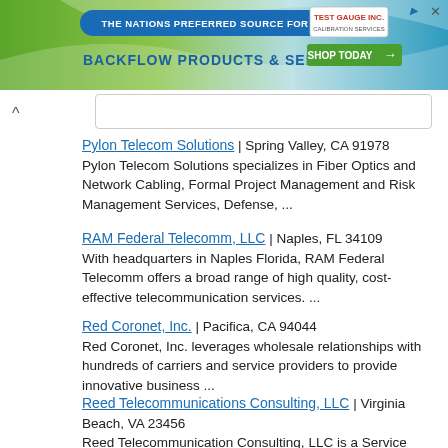[Figure (infographic): Banner advertisement for Test Gauge Inc. showing 'THE NATIONS PREFERRED SOURCE FOR BACKFLOW PRODUCTS & SERVICES' with a 'SHOP TODAY' button on a green and blue gradient background.]
Pylon Telecom Solutions | Spring Valley, CA 91978
Pylon Telecom Solutions specializes in Fiber Optics and Network Cabling, Formal Project Management and Risk Management Services, Defense, ...
RAM Federal Telecomm, LLC | Naples, FL 34109
With headquarters in Naples Florida, RAM Federal Telecomm offers a broad range of high quality, cost-effective telecommunication services. ...
Red Coronet, Inc. | Pacifica, CA 94044
Red Coronet, Inc. leverages wholesale relationships with hundreds of carriers and service providers to provide innovative business ...
Reed Telecommunications Consulting, LLC | Virginia Beach, VA 23456
Reed Telecommunication Consulting, LLC is a Service Disabled Veteran Owned Small Business with over thirty years' experience in the ...
RiLo Communications LLC | Parker, CO 80134
RiLo Communications LLC is one of the leading Hosted PBX ...